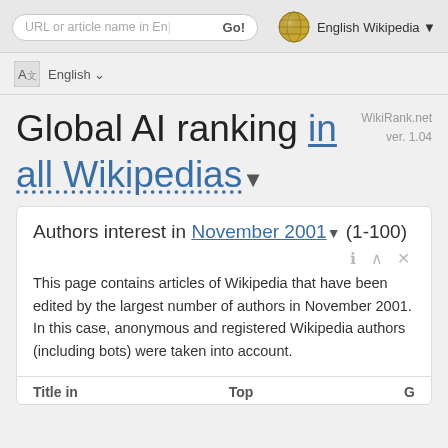URL or article name in English | Go! | English Wikipedia
English
Global AI ranking in all Wikipedias
WikiRank.net ver. 1.04
Authors interest in November 2001 (1-100)
This page contains articles of Wikipedia that have been edited by the largest number of authors in November 2001. In this case, anonymous and registered Wikipedia authors (including bots) were taken into account.
| Title in | Top | G |
| --- | --- | --- |